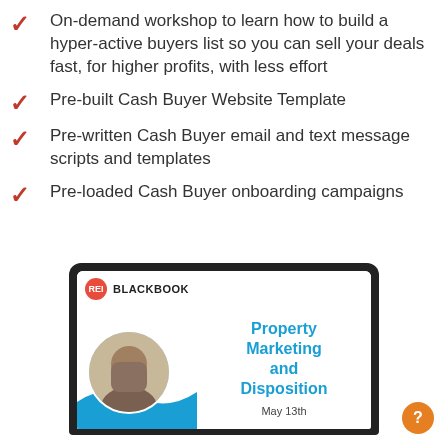On-demand workshop to learn how to build a hyper-active buyers list so you can sell your deals fast, for higher profits, with less effort
Pre-built Cash Buyer Website Template
Pre-written Cash Buyer email and text message scripts and templates
Pre-loaded Cash Buyer onboarding campaigns
[Figure (screenshot): Laptop screenshot showing REI Blackbook Property Marketing and Disposition workshop, May 13th, with a person's headshot and blue wave design]